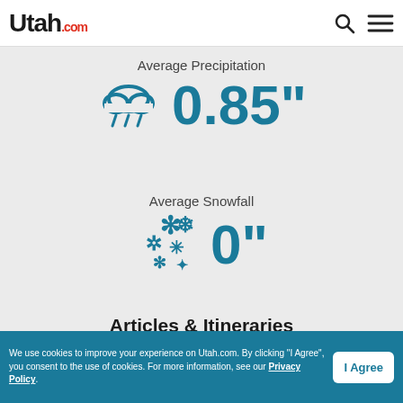Utah.com
Browse
Average Precipitation
0.85"
Average Snowfall
0"
Articles & Itineraries
[Figure (photo): Canyon landscape photo showing red rock walls and blue sky]
We use cookies to improve your experience on Utah.com. By clicking "I Agree", you consent to the use of cookies. For more information, see our Privacy Policy.